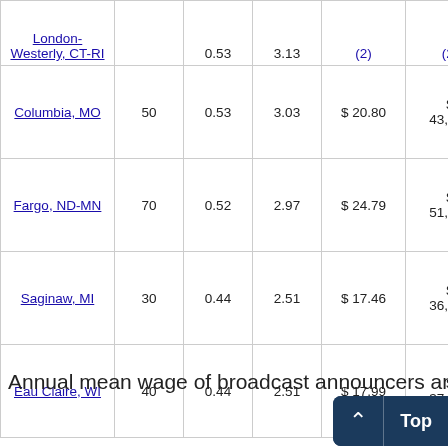| Area | Employment (1) | Employment per thousand jobs (2) | Median hourly wage (2) | Mean hourly wage (2) | Annual mean wage (2) |
| --- | --- | --- | --- | --- | --- |
| New London-Westerly, CT-RI | 30 | 0.53 | 3.13 | (2) | (2) |
| Columbia, MO | 50 | 0.53 | 3.03 | $ 20.80 | $ 43,260 |
| Fargo, ND-MN | 70 | 0.52 | 2.97 | $ 24.79 | $ 51,570 |
| Saginaw, MI | 30 | 0.44 | 2.51 | $ 17.46 | $ 36,310 |
| Eau Claire, WI | 40 | 0.44 | 2.51 | $ 17.99 | $ 37,410 |
| Kingsport-Bristol-Bristol, TN-VA | 40 | 0.39 | 2.23 | $ 15.71 | $ 32,670 |
Annual mean wage of broadcast announcers and...